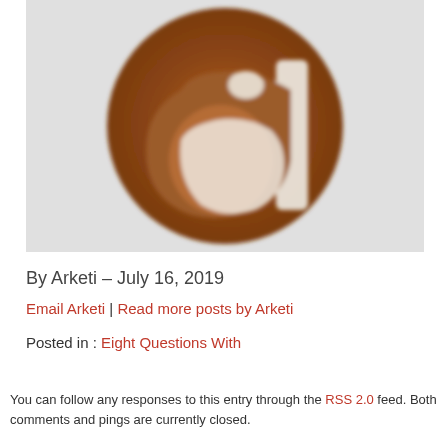[Figure (logo): Circular brown/wood-textured logo with a white lowercase letter 'a' stylized, Arketi Group logo]
By Arketi – July 16, 2019
Email Arketi | Read more posts by Arketi
Posted in : Eight Questions With
You can follow any responses to this entry through the RSS 2.0 feed. Both comments and pings are currently closed.